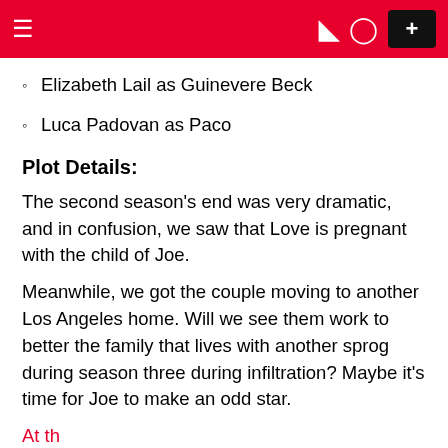≡  ) ⊙ +
Elizabeth Lail as Guinevere Beck
Luca Padovan as Paco
Plot Details:
The second season's end was very dramatic, and in confusion, we saw that Love is pregnant with the child of Joe.
Meanwhile, we got the couple moving to another Los Angeles home. Will we see them work to better the family that lives with another sprog during season three during infiltration? Maybe it's time for Joe to make an odd star.
At the end of the season, we saw...